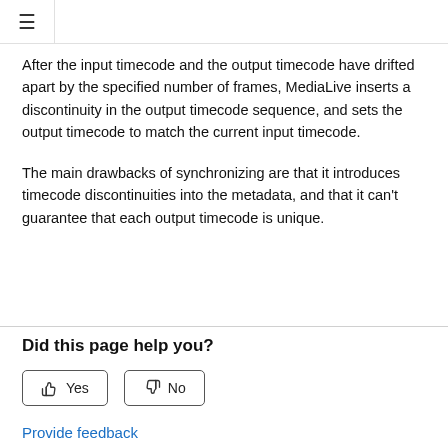≡
After the input timecode and the output timecode have drifted apart by the specified number of frames, MediaLive inserts a discontinuity in the output timecode sequence, and sets the output timecode to match the current input timecode.
The main drawbacks of synchronizing are that it introduces timecode discontinuities into the metadata, and that it can't guarantee that each output timecode is unique.
Did this page help you?
Yes   No
Provide feedback